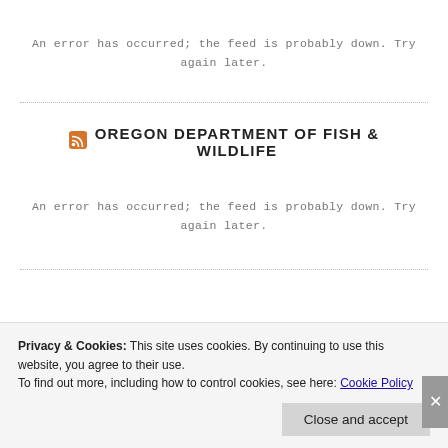An error has occurred; the feed is probably down. Try again later.
OREGON DEPARTMENT OF FISH & WILDLIFE
An error has occurred; the feed is probably down. Try again later.
Privacy & Cookies: This site uses cookies. By continuing to use this website, you agree to their use.
To find out more, including how to control cookies, see here: Cookie Policy
Close and accept